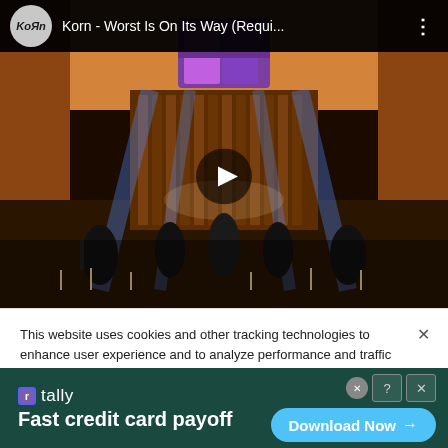[Figure (screenshot): YouTube-style video player showing Korn - Worst Is On Its Way music video thumbnail. Church/cathedral interior with orange walls, stained glass window, stage lighting, band performing. Video header shows Korn channel logo (gray circle with Korn logo text), title 'Korn - Worst Is On Its Way (Requi...' and three-dot menu. Play button overlay in center.]
This website uses cookies and other tracking technologies to enhance user experience and to analyze performance and traffic on our website. Information about your use of our site may also be shared with social media, advertising, retail and analytics providers and partners.  Privacy Policy
[Figure (infographic): Advertisement banner for Tally app. Dark green background. Left side: Tally logo (blue square icon with 'r' letter) and brand name 'tally', tagline 'Fast credit card payoff'. Right side: X close circle, help/close icon buttons, and a cyan/light-blue 'Download Now →' button.]